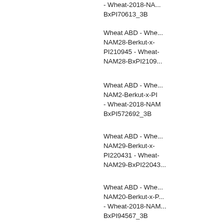Wheat ABD - Wheat-2018-NAM13-Berkut-x-PI70613 - Wheat-2018-NAM13-BxPI70613_3B
Wheat ABD - Wheat-2018-NAM28-Berkut-x-PI210945 - Wheat-2018-NAM28-BxPI210945_3B
Wheat ABD - Wheat-2018-NAM2-Berkut-x-PI572692 - Wheat-2018-NAM2-BxPI572692_3B
Wheat ABD - Wheat-2018-NAM29-Berkut-x-PI220431 - Wheat-2018-NAM29-BxPI220431_3B
Wheat ABD - Wheat-2018-NAM20-Berkut-x-PI94567 - Wheat-2018-NAM20-BxPI94567_3B
Wheat ABD - Wheat-2018-NAM5-Berkut-x-PI382150 - Wheat-2018-NAM5-BxPI382150_3B
Wheat ABD - Wheat-2018-NAM6-Berkut-x-PI470817 - Wheat-2018-NAM6-BxPI470817_3B